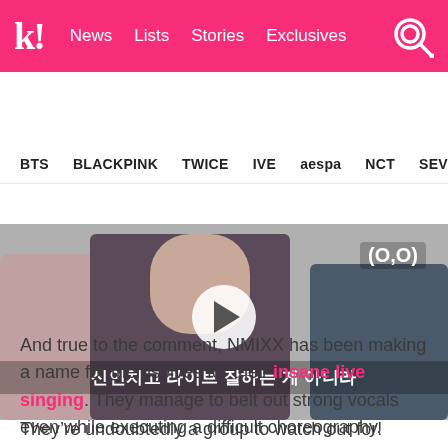k! News Lists Stories Exclusives
BTS BLACKPINK TWICE IVE aespa NCT SEVE
[Figure (screenshot): Video thumbnail showing NMIXX members with Korean subtitle text '신인치고 라이브 잘하는 게 아니라' and a play button overlay. Top right shows '(O,O)' text.]
And true to the comment, NMIXX has been making a name for themselves for their insane live singing. They manage to belt out strong vocals even while executing a difficult choreography.
They’re undoubtedly a group to watch out for!
[Figure (photo): Partial bottom image strip, appears to be a green/teal toned photo.]